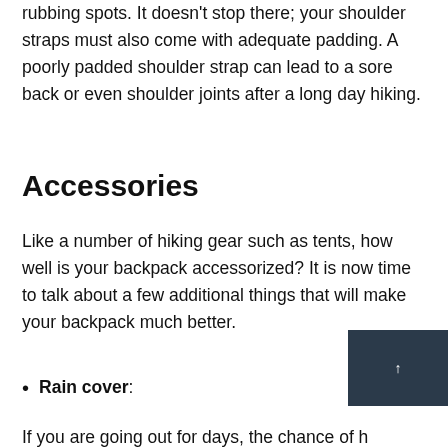rubbing spots. It doesn't stop there; your shoulder straps must also come with adequate padding. A poorly padded shoulder strap can lead to a sore back or even shoulder joints after a long day hiking.
Accessories
Like a number of hiking gear such as tents, how well is your backpack accessorized? It is now time to talk about a few additional things that will make your backpack much better.
Rain cover:
If you are going out for days, the chance of h